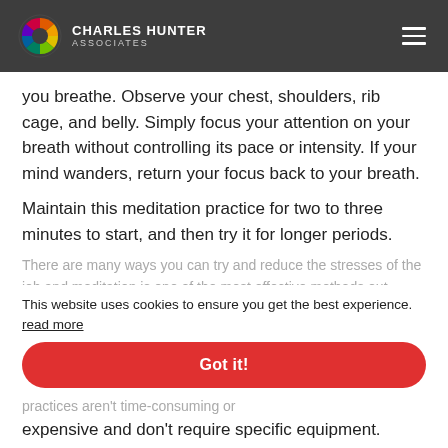CHARLES HUNTER ASSOCIATES
you breathe. Observe your chest, shoulders, rib cage, and belly. Simply focus your attention on your breath without controlling its pace or intensity. If your mind wanders, return your focus back to your breath.
Maintain this meditation practice for two to three minutes to start, and then try it for longer periods.
There are many ways you can try and reduce the stresses of the job and meditation is one of the most effective methods out there.
This website uses cookies to ensure you get the best experience. read more
Got it!
A huge advantage of relaxation and mindfulness is that these practices aren't time-consuming or expensive and don't require specific equipment.